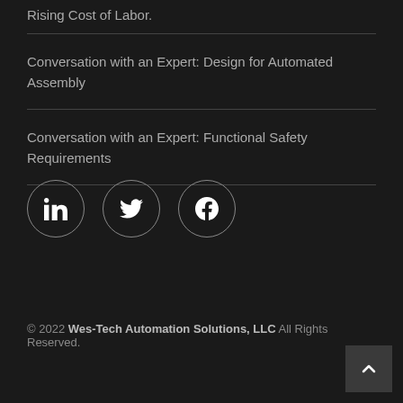Rising Cost of Labor.
Conversation with an Expert: Design for Automated Assembly
Conversation with an Expert: Functional Safety Requirements
[Figure (illustration): Three social media icon circles: LinkedIn, Twitter, Facebook]
© 2022 Wes-Tech Automation Solutions, LLC All Rights Reserved.